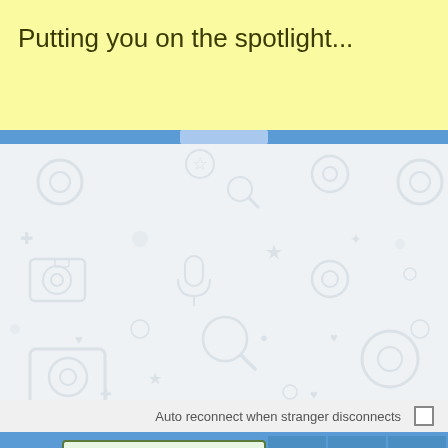Putting you on the spotlight...
[Figure (screenshot): Chat area with decorative light-gray background pattern of various icons (camera, microphone, star, etc.)]
Auto reconnect when stranger disconnects
Type Message Here, or Press Esca